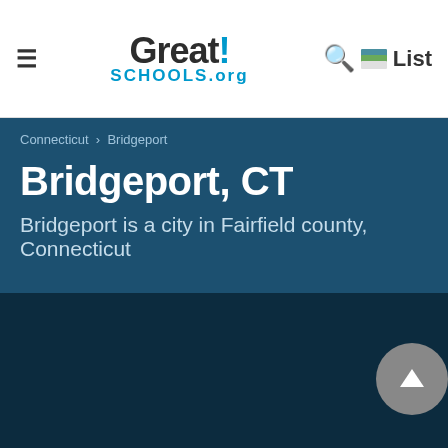GreatSchools.org navigation bar with hamburger menu, logo, search icon, and List button
Connecticut › Bridgeport
Bridgeport, CT
Bridgeport is a city in Fairfield county, Connecticut
[Figure (screenshot): Dark navy background section with scroll-to-top button (grey circle with up arrow) in bottom right area]